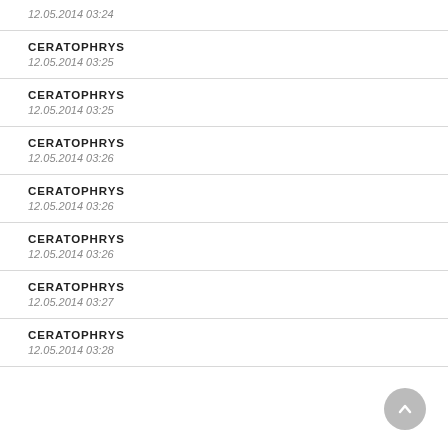12.05.2014 03:24
CERATOPHRYS
12.05.2014 03:25
CERATOPHRYS
12.05.2014 03:25
CERATOPHRYS
12.05.2014 03:26
CERATOPHRYS
12.05.2014 03:26
CERATOPHRYS
12.05.2014 03:26
CERATOPHRYS
12.05.2014 03:27
CERATOPHRYS
12.05.2014 03:28